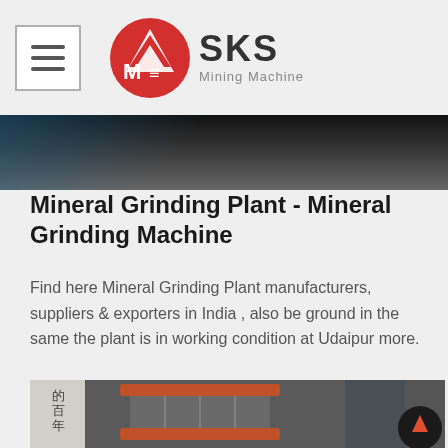SKS Mining Machine
[Figure (photo): Close-up photo of industrial machinery - dark metallic surface with blue accents]
Mineral Grinding Plant - Mineral Grinding Machine
Find here Mineral Grinding Plant manufacturers, suppliers & exporters in India , also be ground in the same the plant is in working condition at Udaipur more.
[Figure (photo): Industrial mineral grinding machine with cylindrical drum components, orange/red rings, grey metal frame, and Chinese characters visible on left wall panel]